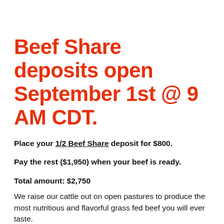Beef Share deposits open September 1st @ 9 AM CDT.
Place your 1/2 Beef Share deposit for $800.
Pay the rest ($1,950) when your beef is ready.
Total amount: $2,750
We raise our cattle out on open pastures to produce the most nutritious and flavorful grass fed beef you will ever taste.